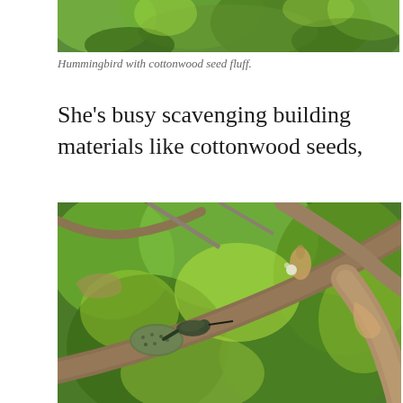[Figure (photo): Partial view of a hummingbird with cottonwood seed fluff, close-up nature photography with green foliage background — top portion of image cropped]
Hummingbird with cottonwood seed fluff.
She's busy scavenging building materials like cottonwood seeds,
[Figure (photo): A hummingbird perched on a branch with a mossy nest, surrounded by green leaves and tree branches, nature wildlife photography]